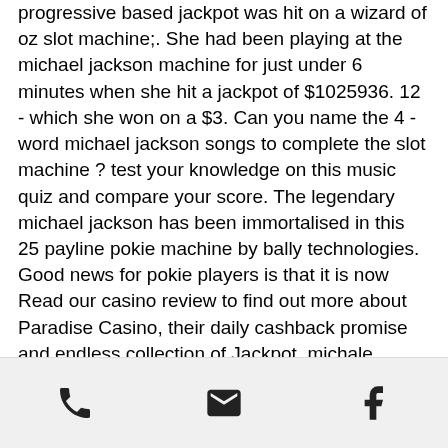progressive based jackpot was hit on a wizard of oz slot machine;. She had been playing at the michael jackson machine for just under 6 minutes when she hit a jackpot of $1025936. 12 - which she won on a $3. Can you name the 4 -word michael jackson songs to complete the slot machine ? test your knowledge on this music quiz and compare your score. The legendary michael jackson has been immortalised in this 25 payline pokie machine by bally technologies. Good news for pokie players is that it is now Read our casino review to find out more about Paradise Casino, their daily cashback promise and endless collection of Jackpot, michale jaclson slot machine wins. Obviously, giving casino bonus codes is a great way for online slots to gift their loyal players and welcome the new ones. Check our listing of new casino bonus codes 2021
phone | email | facebook